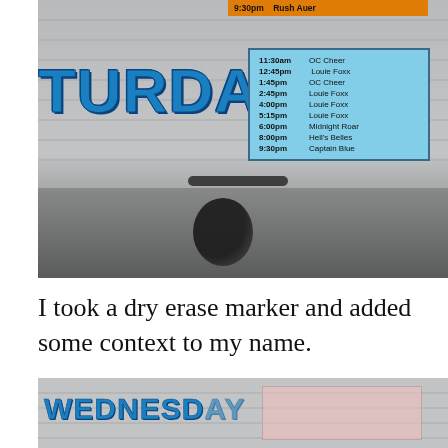[Figure (photo): Photo of a sign board for SATURDAY with an orange bar at top showing '9:30pm Rush Auer', and a blue schedule box listing: 11:30am OC Cheer, 12:45pm Louie Foxx, 1:45pm OC Cheer, 2:45pm Louie Foxx, 4:00pm Louie Foxx, 5:15pm Louie Foxx, 6:00pm Midnight Roar, 8:00pm Hell's Belles, 9:30pm Captain Blue. Below is a car/vehicle reflection.]
I took a dry erase marker and added some context to my name.
[Figure (photo): Photo of a sign board for WEDNESDAY with a partially visible pink/faded schedule box.]